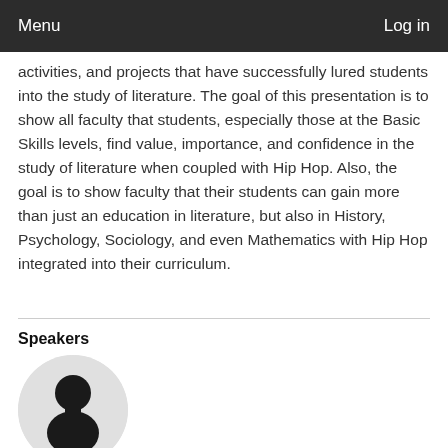Menu    Log in
activities, and projects that have successfully lured students into the study of literature. The goal of this presentation is to show all faculty that students, especially those at the Basic Skills levels, find value, importance, and confidence in the study of literature when coupled with Hip Hop. Also, the goal is to show faculty that their students can gain more than just an education in literature, but also in History, Psychology, Sociology, and even Mathematics with Hip Hop integrated into their curriculum.
Speakers
[Figure (photo): Circular avatar placeholder image showing a generic person silhouette in black on a light grey circular background]
Boyda Johnstone